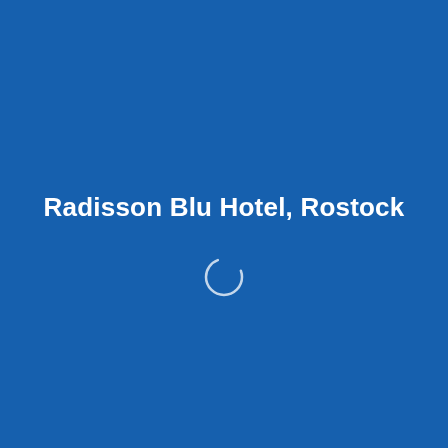Radisson Blu Hotel, Rostock
[Figure (other): A circular loading spinner (partial circle arc) in white/light color on a blue background, indicating a loading state.]